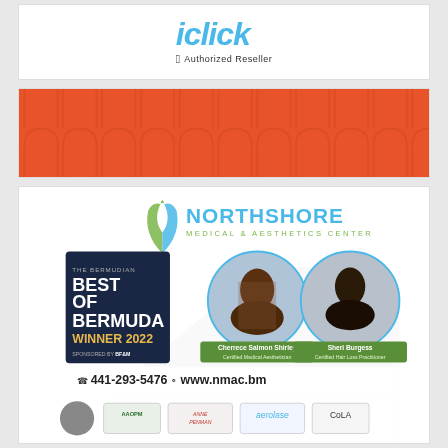[Figure (logo): iClick Apple Authorized Reseller logo — blue italic 'iClick' text with Apple logo and 'Authorized Reseller' text below]
[Figure (illustration): Orange/coral background with repeating arch/doorway pattern in darker orange, used as an advertisement banner]
[Figure (infographic): Northshore Medical & Aesthetics Center advertisement. Shows logo with green leaf/figure graphic and 'NORTHSHORE MEDICAL & AESTHETICS CENTER' text. Below is 'Best of Bermuda Winner 2022 Sponsored by BF&M' badge (dark navy), two circular portrait photos of Cherrece Salmon Shirley (Certified Medical Aesthetician) and Sheri Burgess (Certified Hair Loss Practitioner). Phone: 441-293-5476, website: www.nmac.bm. Bottom partner logos: AAOPM, Anne Penman, aerolase, CoLA.]